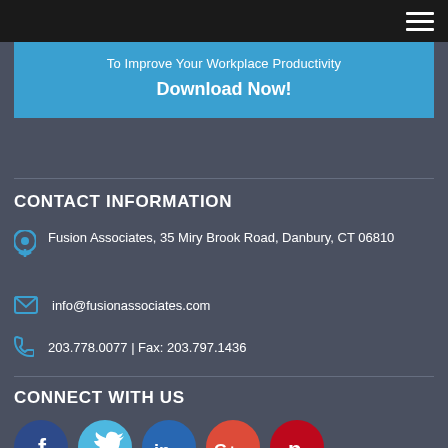To Improve Your Workplace Productivity
Download Now!
CONTACT INFORMATION
Fusion Associates, 35 Miry Brook Road, Danbury, CT 06810
info@fusionassociates.com
203.778.0077 | Fax: 203.797.1436
CONNECT WITH US
[Figure (illustration): Social media icons: Facebook (dark blue circle with f), Twitter (light blue circle with bird), LinkedIn (dark blue circle with in), Google+ (red circle with G+), Pinterest (red circle with P)]